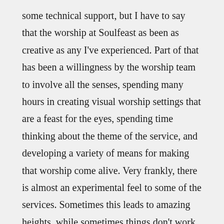some technical support, but I have to say that the worship at Soulfeast as been as creative as any I've experienced. Part of that has been a willingness by the worship team to involve all the senses, spending many hours in creating visual worship settings that are a feast for the eyes, spending time thinking about the theme of the service, and developing a variety of means for making that worship come alive. Very frankly, there is almost an experimental feel to some of the services. Sometimes this leads to amazing heights, while sometimes things don't work the way we hoped. But in every case, the planners and designers are willing to take a chance in doing something new to help all of us connect to God in new ways.